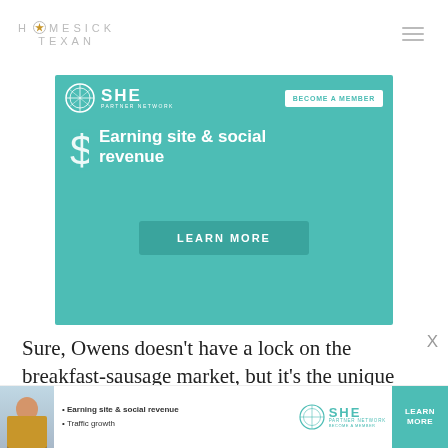HOMESICK TEXAN
[Figure (infographic): SHE Media Partner Network advertisement banner with teal background. Shows SHE Media logo, 'BECOME A MEMBER' button, dollar sign icon, headline 'Earning site & social revenue', and 'LEARN MORE' button.]
Sure, Owens doesn't have a lock on the breakfast-sausage market, but it's the unique combination of spices and perfect pork to fat
[Figure (infographic): Bottom banner ad for SHE Media Partner Network. Shows a woman's photo on the left, bullet points 'Earning site & social revenue' and 'Traffic growth', SHE Media logo, and a 'LEARN MORE' button in teal.]